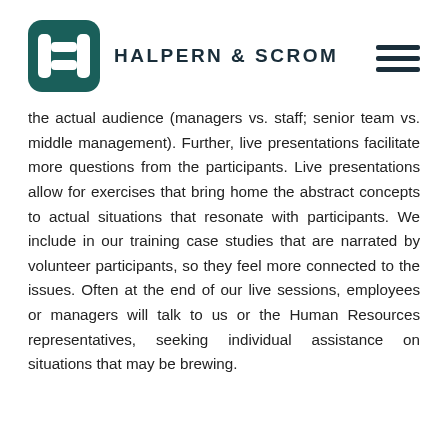HALPERN & SCROM
the actual audience (managers vs. staff; senior team vs. middle management). Further, live presentations facilitate more questions from the participants. Live presentations allow for exercises that bring home the abstract concepts to actual situations that resonate with participants. We include in our training case studies that are narrated by volunteer participants, so they feel more connected to the issues. Often at the end of our live sessions, employees or managers will talk to us or the Human Resources representatives, seeking individual assistance on situations that may be brewing.